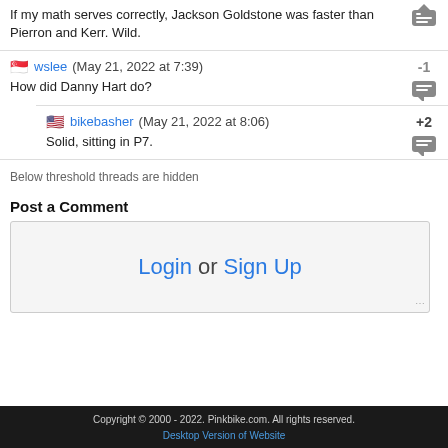If my math serves correctly, Jackson Goldstone was faster than Pierron and Kerr. Wild.
wslee (May 21, 2022 at 7:39)
How did Danny Hart do?
bikebasher (May 21, 2022 at 8:06)
Solid, sitting in P7.
Below threshold threads are hidden
Post a Comment
Login or Sign Up
Copyright © 2000 - 2022. Pinkbike.com. All rights reserved.
Desktop Version of Website